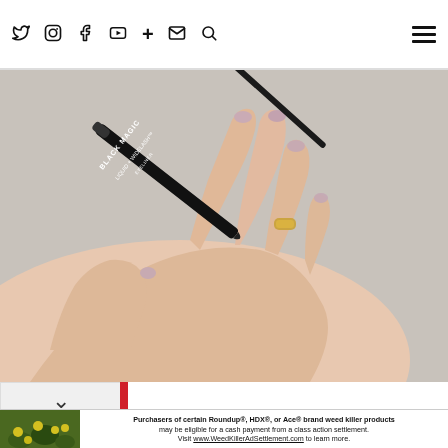Navigation bar with social media icons: Twitter, Instagram, Facebook, YouTube, Google+, Email, Search, and hamburger menu
[Figure (photo): A hand holding a black liquid eyeliner product labeled 'BLACK MAGIC LIQUID + WIDELASH™ EYELINER'. The hand has light pink/mauve nail polish and a gold ring on one finger. Background is neutral gray.]
Purchasers of certain Roundup®, HDX®, or Ace® brand weed killer products may be eligible for a cash payment from a class action settlement. Visit www.WeedKillerAdSettlement.com to learn more.